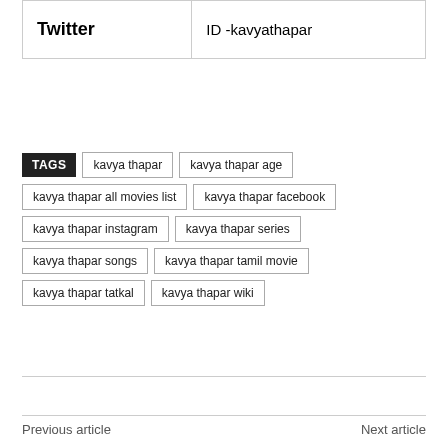|  |  |
| --- | --- |
| Twitter | ID -kavyathapar |
TAGS  kavya thapar  kavya thapar age  kavya thapar all movies list  kavya thapar facebook  kavya thapar instagram  kavya thapar series  kavya thapar songs  kavya thapar tamil movie  kavya thapar tatkal  kavya thapar wiki
Previous article
Next article